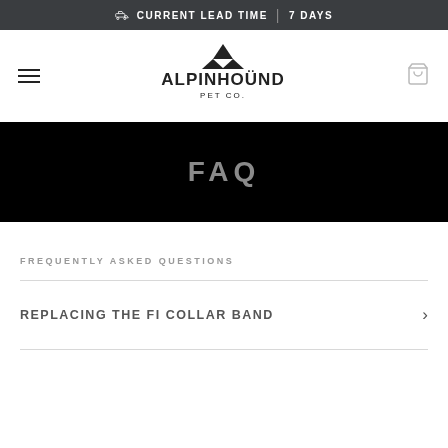CURRENT LEAD TIME | 7 DAYS
[Figure (logo): Alpinhound Pet Co. logo with mountain peak icon and stylized text]
FAQ
FREQUENTLY ASKED QUESTIONS
REPLACING THE FI COLLAR BAND